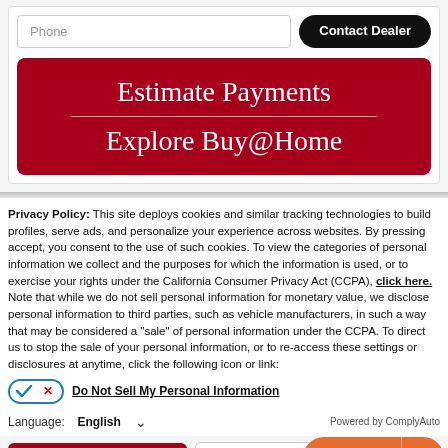[Figure (screenshot): Phone input field and Contact Dealer button row]
[Figure (infographic): Red banner with 'Estimate Payments' and 'Explore Buy@Home' text]
Privacy Policy: This site deploys cookies and similar tracking technologies to build profiles, serve ads, and personalize your experience across websites. By pressing accept, you consent to the use of such cookies. To view the categories of personal information we collect and the purposes for which the information is used, or to exercise your rights under the California Consumer Privacy Act (CCPA), click here. Note that while we do not sell personal information for monetary value, we disclose personal information to third parties, such as vehicle manufacturers, in such a way that may be considered a "sale" of personal information under the CCPA. To direct us to stop the sale of your personal information, or to re-access these settings or disclosures at anytime, click the following icon or link:
Do Not Sell My Personal Information
Language:  English
Powered by ComplyAuto
Accept and Continue →
California Privacy Di...
Text Us